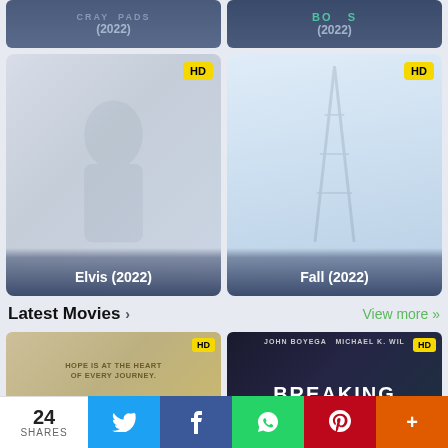[Figure (screenshot): Partial movie card for a 2022 film (crayfish related) with dark blue overlay and text visible at bottom]
[Figure (screenshot): Partial movie card for a 2022 film (Bones related) with dark blue overlay and text visible at bottom]
[Figure (screenshot): Elvis (2022) movie card with faded poster image and HD badge]
[Figure (screenshot): Fall (2022) movie card showing antenna tower against sky with HD badge]
Latest Movies ›
View more »
[Figure (screenshot): Movie thumbnail with HD badge - hope journey themed movie]
[Figure (screenshot): Breaking movie thumbnail with John Boyega and Michael K. Williams, HD badge]